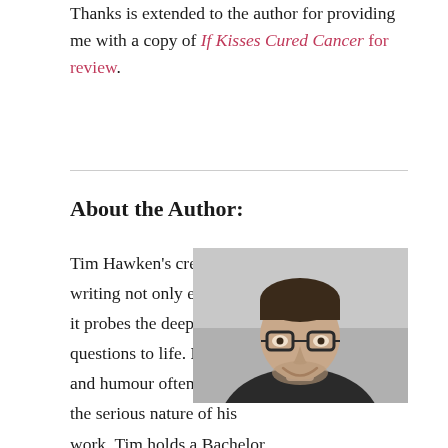Thanks is extended to the author for providing me with a copy of If Kisses Cured Cancer for review.
About the Author:
Tim Hawken's creative writing not only entertains, it probes the deepest questions to life. His wit and humour often disguise the serious nature of his work. Tim holds a Bachelor Degree in Arts and Commerce from Deakin University, with honours in Philosophy and majors in Literature, Journalism and Marketing. His first novel was born while on the road, written on
[Figure (photo): Black and white headshot photo of Tim Hawken, a man wearing glasses and a dark sweater, smiling]